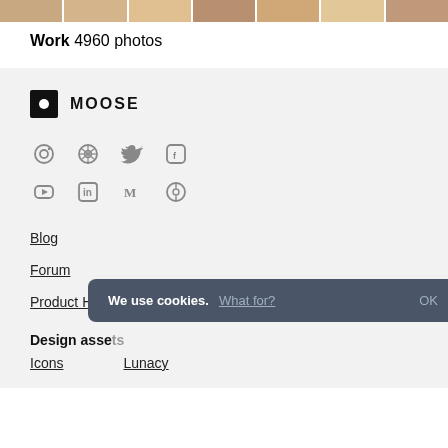[Figure (photo): Horizontal strip of thumbnail photos at the top of the page]
Work  4960 photos
[Figure (logo): Moose logo: black square with white dot, followed by MOOSE text in bold capitals]
[Figure (infographic): Social media icons grid: Instagram, Dribbble, Twitter, Facebook (row 1); YouTube, LinkedIn, Medium, Pinterest (row 2)]
Blog
Forum
Product Hunt
Design assets
Icons
Lunacy
We use cookies.  What for?  OK